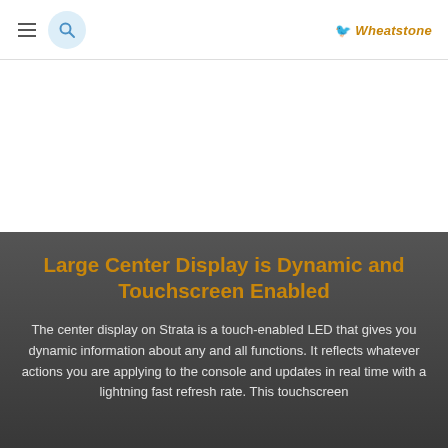Wheatstone
Large Center Display is Dynamic and Touchscreen Enabled
The center display on Strata is a touch-enabled LED that gives you dynamic information about any and all functions. It reflects whatever actions you are applying to the console and updates in real time with a lightning fast refresh rate. This touchscreen